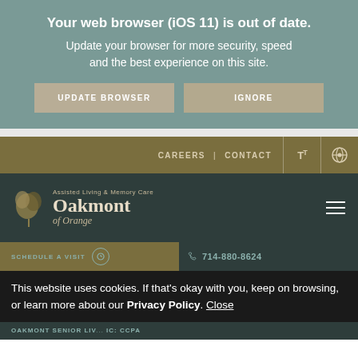Your web browser (iOS 11) is out of date. Update your browser for more security, speed and the best experience on this site.
UPDATE BROWSER
IGNORE
CAREERS | CONTACT
[Figure (logo): Oakmont of Orange - Assisted Living & Memory Care logo with leaf/oak design]
SCHEDULE A VISIT   714-880-8624
This website uses cookies. If that's okay with you, keep on browsing, or learn more about our Privacy Policy. Close
OAKMONT SENIOR LIV... IC: CCPA